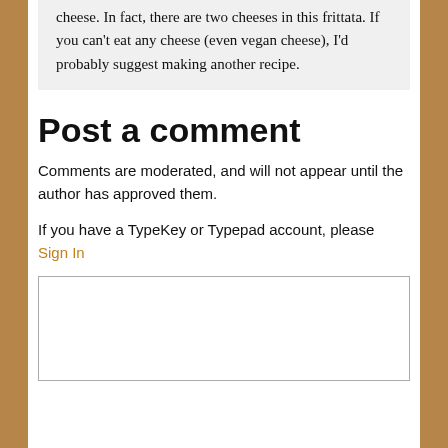cheese. In fact, there are two cheeses in this frittata. If you can't eat any cheese (even vegan cheese), I'd probably suggest making another recipe.
Post a comment
Comments are moderated, and will not appear until the author has approved them.
If you have a TypeKey or Typepad account, please Sign In
[Figure (other): Empty comment text input box with border]